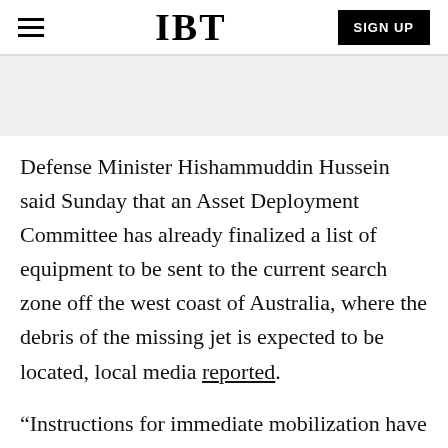IBT | SIGN UP
Defense Minister Hishammuddin Hussein said Sunday that an Asset Deployment Committee has already finalized a list of equipment to be sent to the current search zone off the west coast of Australia, where the debris of the missing jet is expected to be located, local media reported.
“Instructions for immediate mobilization have been given and the assets are expected to reach the search area in mid-August 2014. Operational